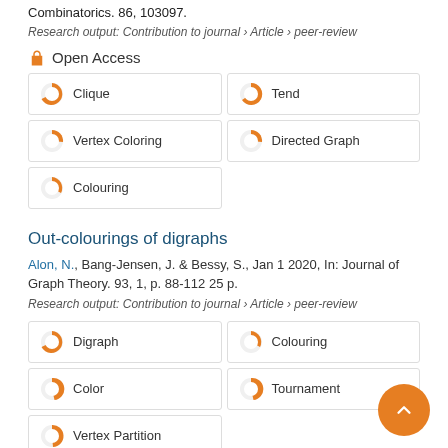Combinatorics. 86, 103097.
Research output: Contribution to journal › Article › peer-review
Open Access
Clique
Tend
Vertex Coloring
Directed Graph
Colouring
Out-colourings of digraphs
Alon, N., Bang-Jensen, J. & Bessy, S., Jan 1 2020, In: Journal of Graph Theory. 93, 1, p. 88-112 25 p.
Research output: Contribution to journal › Article › peer-review
Digraph
Colouring
Color
Tournament
Vertex Partition